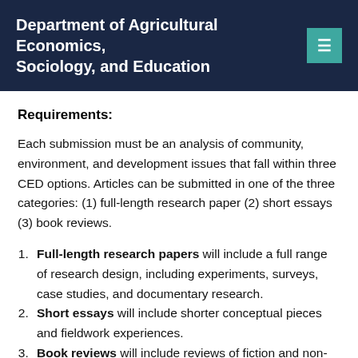Department of Agricultural Economics, Sociology, and Education
Requirements:
Each submission must be an analysis of community, environment, and development issues that fall within three CED options. Articles can be submitted in one of the three categories: (1) full-length research paper (2) short essays (3) book reviews.
Full-length research papers will include a full range of research design, including experiments, surveys, case studies, and documentary research.
Short essays will include shorter conceptual pieces and fieldwork experiences.
Book reviews will include reviews of fiction and non-